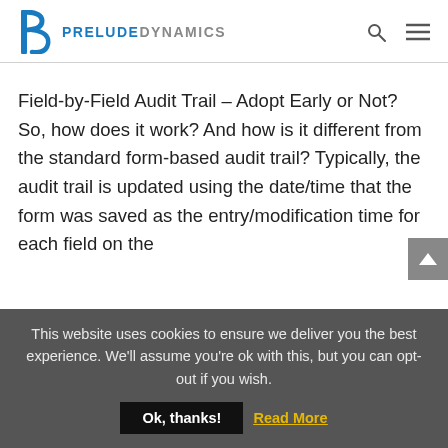PRELUDE DYNAMICS
Field-by-Field Audit Trail – Adopt Early or Not? So, how does it work? And how is it different from the standard form-based audit trail? Typically, the audit trail is updated using the date/time that the form was saved as the entry/modification time for each field on the
This website uses cookies to ensure we deliver you the best experience. We'll assume you're ok with this, but you can opt-out if you wish.
Ok, thanks!
Read More